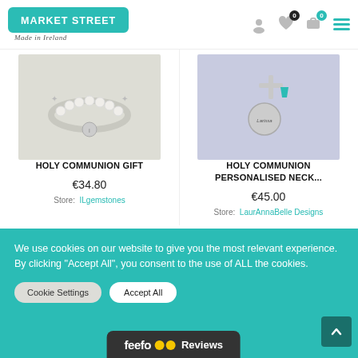Market Street Made in Ireland — navigation header with logo, icons, and menu
[Figure (photo): Holy Communion gift ring with pearls and star charms and a small initial charm, on white background]
HOLY COMMUNION GIFT
€34.80
Store: ILgemstones
[Figure (photo): Holy Communion personalised necklace charm with name 'Larissa' stamped and a teal gemstone, on lavender background]
HOLY COMMUNION PERSONALISED NECK...
€45.00
Store: LaurAnnaBelle Designs
We use cookies on our website to give you the most relevant experience. By clicking "Accept All", you consent to the use of ALL the cookies.
Cookie Settings   Accept All
[Figure (logo): Feefo Reviews logo bar in dark background at bottom center]